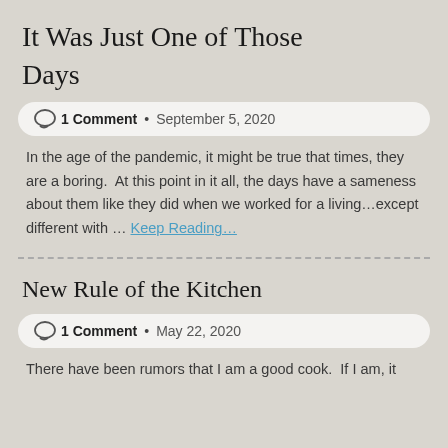It Was Just One of Those Days
1 Comment • September 5, 2020
In the age of the pandemic, it might be true that times, they are a boring.  At this point in it all, the days have a sameness about them like they did when we worked for a living…except different with … Keep Reading…
New Rule of the Kitchen
1 Comment • May 22, 2020
There have been rumors that I am a good cook.  If I am, it